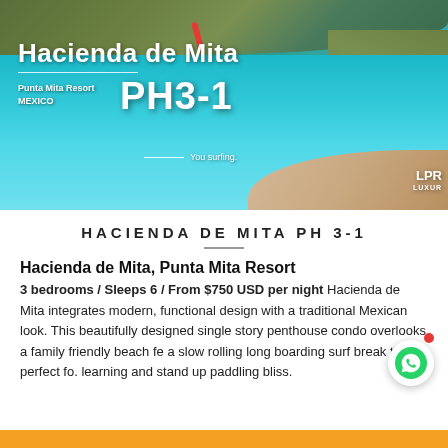[Figure (photo): Aerial view of Hacienda de Mita at Punta Mita Resort, Mexico, showing turquoise ocean water, coastline, and sand. Overlaid text reads: Hacienda de Mita, Punta Mita Resort MEXICO, PH3-1, You surfing., LPR LUXUR]
HACIENDA DE MITA PH 3-1
Hacienda de Mita, Punta Mita Resort
3 bedrooms / Sleeps 6 / From $750 USD per night Hacienda de Mita integrates modern, functional design with a traditional Mexican look. This beautifully designed single story penthouse condo overlooks a family friendly beach fe a slow rolling long boarding surf break that is perfect fo. learning and stand up paddling bliss.